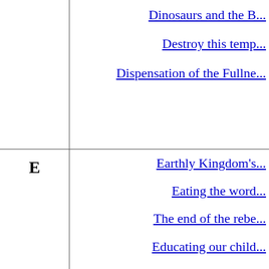|  | Links |
| --- | --- |
|  | Dinosaurs and the B... |
|  | Destroy this temp... |
|  | Dispensation of the Fullne... |
| E | Earthly Kingdom's... |
|  | Eating the word... |
|  | The end of the rebe... |
|  | Educating our child... |
|  | The Eighth Head of the... |
|  | Elijah in the last da... |
|  | Elijah - is he coming ... |
|  | Elijah - why did he... |
|  | Elijah's work (not his n... |